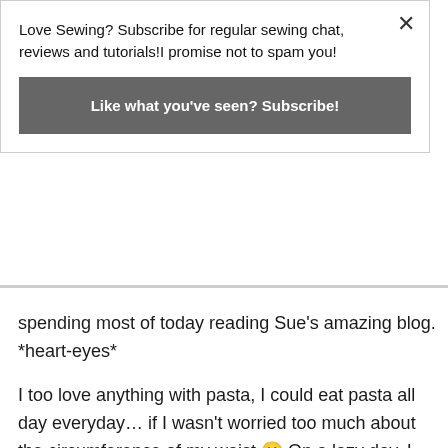Love Sewing? Subscribe for regular sewing chat, reviews and tutorials!I promise not to spam you!
Like what you've seen? Subscribe!
spending most of today reading Sue's amazing blog. *heart-eyes*
I too love anything with pasta, I could eat pasta all day everyday… if I wasn't worried too much about the circumference of my waist 😀 On a lazy day, I love spaghetti aglio e olio with additional king prawns and red pepper flakes yum!
Faye. X